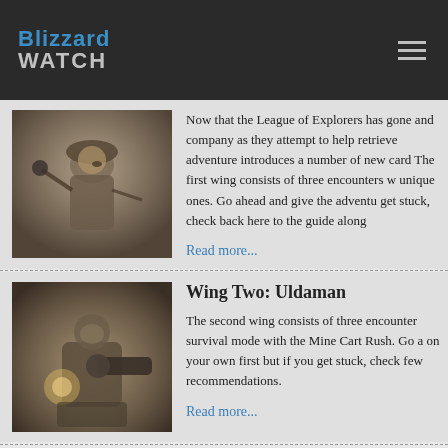Blizzard Watch
[Figure (photo): Sepia-toned illustration of a mustachioed explorer character holding a weapon, dressed in adventurer attire]
Now that the League of Explorers has gone and company as they attempt to help retrieve adventure introduces a number of new card The first wing consists of three encounters w unique ones. Go ahead and give the adventu get stuck, check back here to the guide along
Read more...
Wing Two: Uldaman
[Figure (photo): Sepia-toned illustration of a mechanical or armored character with a large gun or cannon, dramatic lighting]
The second wing consists of three encounter survival mode with the Mine Cart Rush. Go a on your own first but if you get stuck, check few recommendations.
Read more...